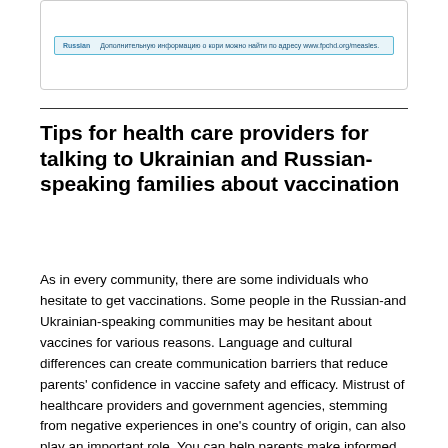[Figure (other): A banner/flyer image showing Russian-language text about measles information. The banner has a light blue background with a teal border. It contains a label 'Russian' and text in Cyrillic: 'Дополнительную информацию о кори можно найти по адресу www.fpchd.org/measles.']
Tips for health care providers for talking to Ukrainian and Russian-speaking families about vaccination
As in every community, there are some individuals who hesitate to get vaccinations. Some people in the Russian-and Ukrainian-speaking communities may be hesitant about vaccines for various reasons. Language and cultural differences can create communication barriers that reduce parents' confidence in vaccine safety and efficacy. Mistrust of healthcare providers and government agencies, stemming from negative experiences in one's country of origin, can also play an important role. You can help parents make informed decisions by engaging in open discussions that address their